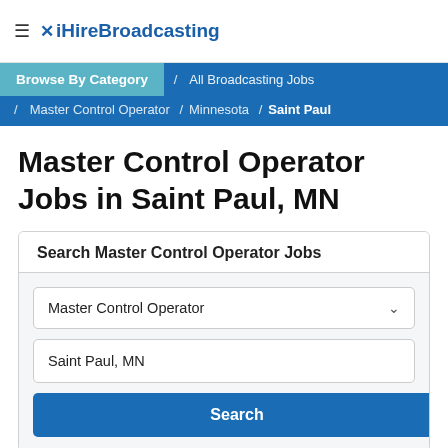≡ iHireBroadcasting
Browse By Category / All Broadcasting Jobs / Master Control Operator / Minnesota / Saint Paul
Master Control Operator Jobs in Saint Paul, MN
Search Master Control Operator Jobs
Master Control Operator
Saint Paul, MN
Search